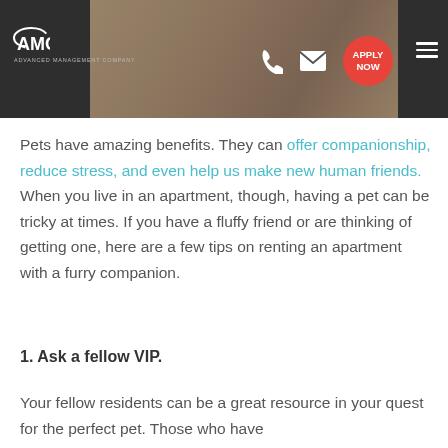AMC Advanced Management Company — header with phone, email, apply now button
Pets have amazing benefits. They can offer companionship, reduce stress, and even help us make new human friends. When you live in an apartment, though, having a pet can be tricky at times. If you have a fluffy friend or are thinking of getting one, here are a few tips on renting an apartment with a furry companion.
1. Ask a fellow VIP.
Your fellow residents can be a great resource in your quest for the perfect pet. Those who have